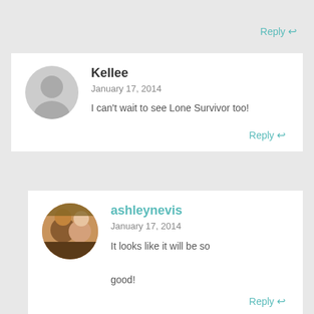Reply ↩
Kellee
January 17, 2014
I can't wait to see Lone Survivor too!
Reply ↩
ashleynevis
January 17, 2014
It looks like it will be so good!
Reply ↩